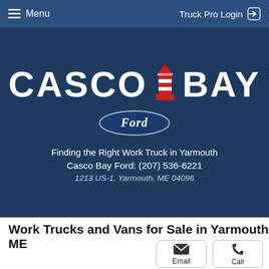Menu   Truck Pro Login
[Figure (logo): Casco Bay Ford logo with lighthouse icon between CASCO and BAY text, and Ford oval badge below]
Finding the Right Work Truck in Yarmouth
Casco Bay Ford: (207) 536-6221
1213 US-1, Yarmouth, ME 04096
Work Trucks and Vans for Sale in Yarmouth, ME
Email   Call